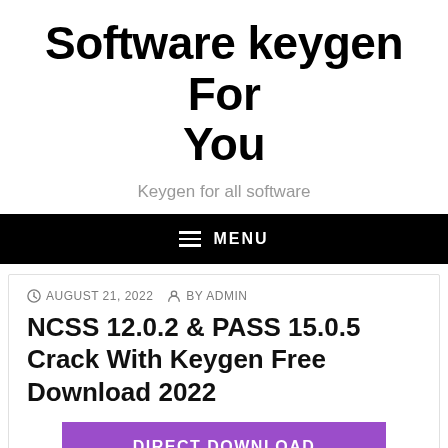Software keygen For You
Keygen for all software
MENU
AUGUST 21, 2022  BY ADMIN
NCSS 12.0.2 & PASS 15.0.5 Crack With Keygen Free Download 2022
DIRECT DOWNLOAD
DOWNLOAD USA LINK